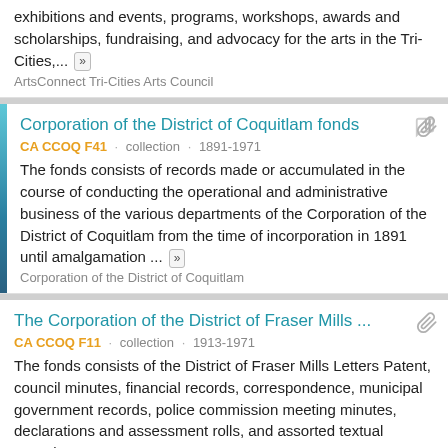exhibitions and events, programs, workshops, awards and scholarships, fundraising, and advocacy for the arts in the Tri-Cities,...
ArtsConnect Tri-Cities Arts Council
Corporation of the District of Coquitlam fonds
CA CCOQ F41 · collection · 1891-1971
The fonds consists of records made or accumulated in the course of conducting the operational and administrative business of the various departments of the Corporation of the District of Coquitlam from the time of incorporation in 1891 until amalgamation ...
Corporation of the District of Coquitlam
The Corporation of the District of Fraser Mills ...
CA CCOQ F11 · collection · 1913-1971
The fonds consists of the District of Fraser Mills Letters Patent, council minutes, financial records, correspondence, municipal government records, police commission meeting minutes, declarations and assessment rolls, and assorted textual records.
The Corporation of the District of Fraser Mills
Como Lake Preschool fonds
CA CCOQ F5 · collection · 1953-2011